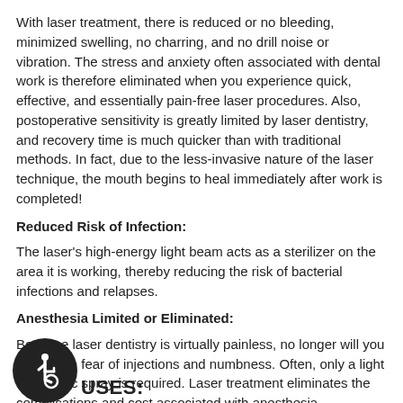With laser treatment, there is reduced or no bleeding, minimized swelling, no charring, and no drill noise or vibration. The stress and anxiety often associated with dental work is therefore eliminated when you experience quick, effective, and essentially pain-free laser procedures. Also, postoperative sensitivity is greatly limited by laser dentistry, and recovery time is much quicker than with traditional methods. In fact, due to the less-invasive nature of the laser technique, the mouth begins to heal immediately after work is completed!
Reduced Risk of Infection:
The laser's high-energy light beam acts as a sterilizer on the area it is working, thereby reducing the risk of bacterial infections and relapses.
Anesthesia Limited or Eliminated:
Because laser dentistry is virtually painless, no longer will you suffer with fear of injections and numbness. Often, only a light anesthetic spray is required. Laser treatment eliminates the complications and cost associated with anesthesia.
[Figure (illustration): Wheelchair accessibility icon — white wheelchair symbol on dark circular background]
USES: